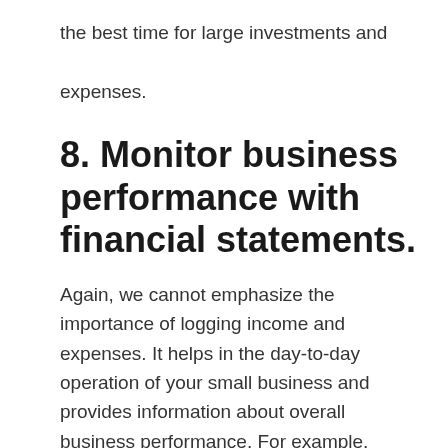the best time for large investments and expenses.
8. Monitor business performance with financial statements.
Again, we cannot emphasize the importance of logging income and expenses. It helps in the day-to-day operation of your small business and provides information about overall business performance. For example, income statements help your business determine profit or loss, a balance sheet shows assets and liabilities, and a cash flow